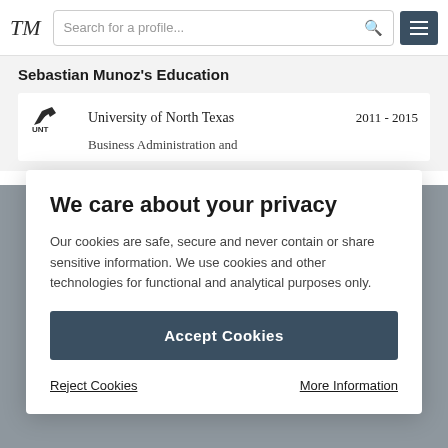TM | Search for a profile
Sebastian Munoz's Education
University of North Texas  2011 - 2015
Business Administration and
We care about your privacy
Our cookies are safe, secure and never contain or share sensitive information. We use cookies and other technologies for functional and analytical purposes only.
Accept Cookies
Reject Cookies
More Information